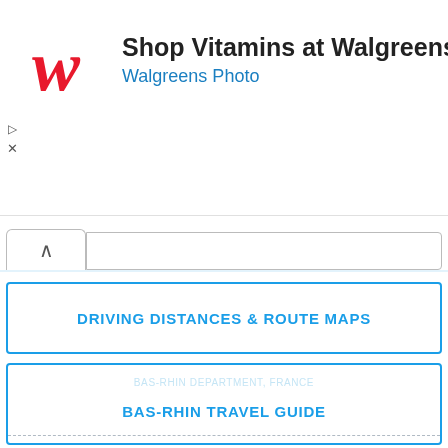[Figure (screenshot): Walgreens advertisement banner with red W logo, text 'Shop Vitamins at Walgreens' and 'Walgreens Photo', and a blue navigation arrow icon on the right]
DRIVING DISTANCES & ROUTE MAPS
BAS-RHIN TRAVEL GUIDE
BAS-RHIN PLACES AND ATTRACTIONS